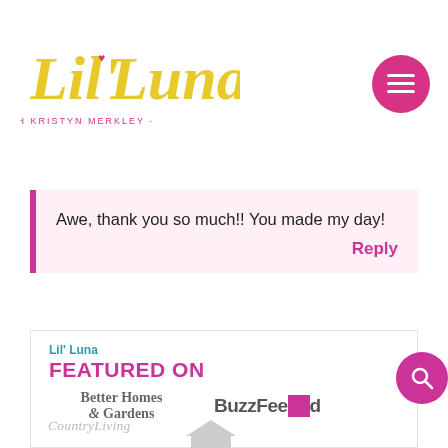[Figure (logo): Lil' Luna script logo in gold/yellow with 'WITH KRISTYN MERKLEY' subtitle in pink, on white background]
Awe, thank you so much!! You made my day!
Reply
Lil' Luna
FEATURED ON
[Figure (logo): Better Homes & Gardens logo in gray serif font]
[Figure (logo): BuzzFeed logo in gray bold font with pink circle dot]
[Figure (logo): Country Living logo in gray italic serif font]
[Figure (logo): HGTV logo partially visible in gray]